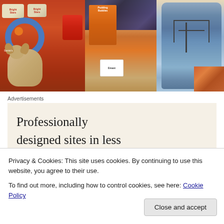[Figure (photo): Photo of baby/children products including Bright Stars toys, stuffed animal dog, orange product boxes, and a gray baby car seat arranged on a colorful background]
Advertisements
[Figure (screenshot): Advertisement box with beige background showing text 'Professionally designed sites in less']
Privacy & Cookies: This site uses cookies. By continuing to use this website, you agree to their use.
To find out more, including how to control cookies, see here: Cookie Policy
Close and accept